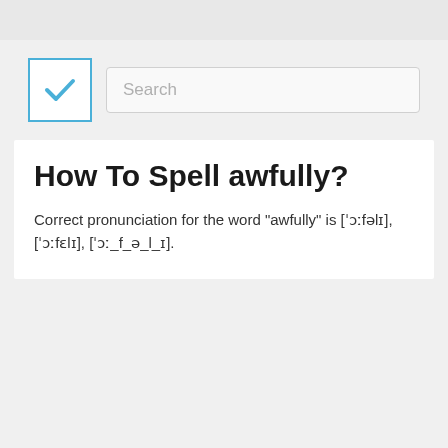[Figure (screenshot): Search bar UI with checkbox icon and text input field showing placeholder 'Search']
How To Spell awfully?
Correct pronunciation for the word "awfully" is [ˈɔːfəlɪ], [ˈɔːfɛlɪ], [ˈɔː_f_ə_l_ɪ].